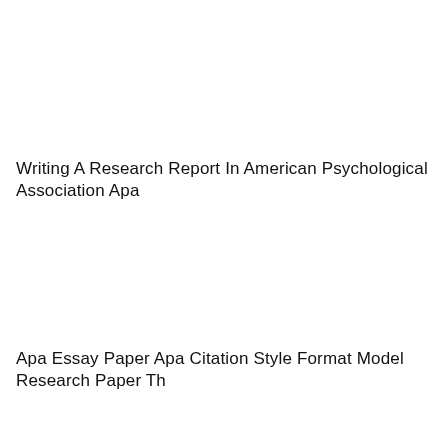Writing A Research Report In American Psychological Association Apa
Apa Essay Paper Apa Citation Style Format Model Research Paper Th